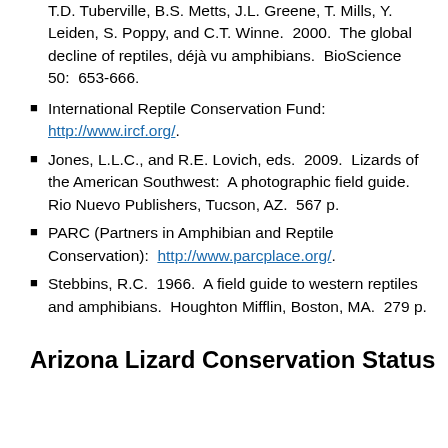T.D. Tuberville, B.S. Metts, J.L. Greene, T. Mills, Y. Leiden, S. Poppy, and C.T. Winne. 2000. The global decline of reptiles, déjà vu amphibians. BioScience 50: 653-666.
International Reptile Conservation Fund: http://www.ircf.org/.
Jones, L.L.C., and R.E. Lovich, eds. 2009. Lizards of the American Southwest: A photographic field guide. Rio Nuevo Publishers, Tucson, AZ. 567 p.
PARC (Partners in Amphibian and Reptile Conservation): http://www.parcplace.org/.
Stebbins, R.C. 1966. A field guide to western reptiles and amphibians. Houghton Mifflin, Boston, MA. 279 p.
Arizona Lizard Conservation Status